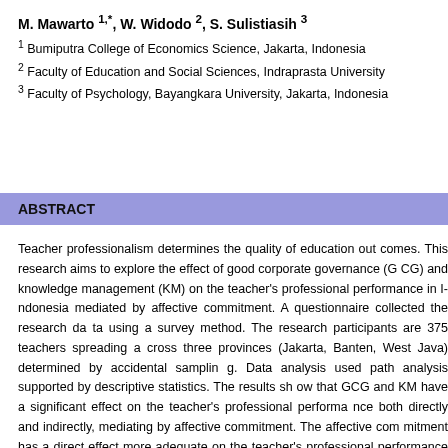M. Mawarto 1,*, W. Widodo 2, S. Sulistiasih 3
1 Bumiputra College of Economics Science, Jakarta, Indonesia
2 Faculty of Education and Social Sciences, Indraprasta University
3 Faculty of Psychology, Bayangkara University, Jakarta, Indonesia
ABSTRACT
Teacher professionalism determines the quality of education out... aims to explore the effect of good corporate governance (G... management (KM) on the teacher's professional performance in I... affective commitment. A questionnaire collected the research da... method. The research participants are 375 teachers spreading a... (Jakarta, Banten, West Java) determined by accidental samplin... path analysis supported by descriptive statistics. The results sh... have a significant effect on the teacher's professional performa... indirectly, mediating by affective commitment. The affective con... effect more adequate on the teacher's professional performance t... has a direct effect more adequate on teacher's affective commitme... has an indirect effect more appropriate on the teacher's pro... mediated by affective commitment than GCG. Therefore, a fit res...